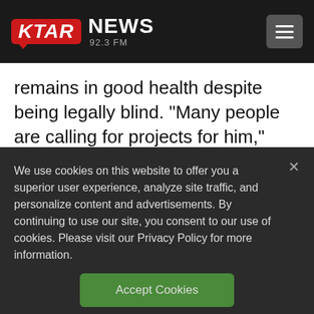[Figure (logo): KTAR News 92.3 FM logo with hamburger menu button on black navigation bar]
remains in good health despite being legally blind. “Many people are calling for projects for him,” and he is considering a final standup tour, Wyatt said.
District Attorney Kevin Steele in
We use cookies on this website to offer you a superior user experience, analyze site traffic, and personalize content and advertisements. By continuing to use our site, you consent to our use of cookies. Please visit our Privacy Policy for more information.
Accept Cookies